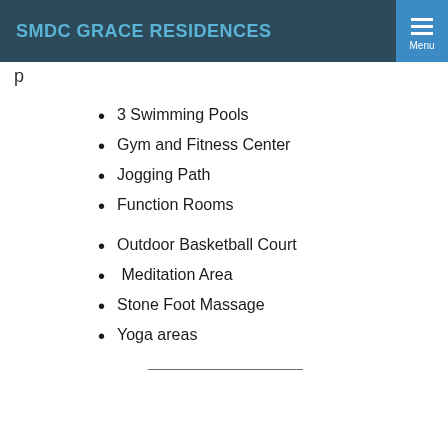SMDC GRACE RESIDENCES
3 Swimming Pools
Gym and Fitness Center
Jogging Path
Function Rooms
Outdoor Basketball Court
Meditation Area
Stone Foot Massage
Yoga areas